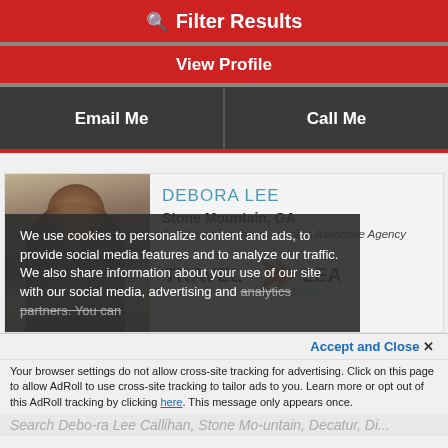Filter Results
View Profile
Email Me  |  Call Me
[Figure (photo): Profile photo of Debora Lee, a woman seated in an office setting]
DEBORA LEE
Stone Mountain, GA
A Full-Service Travel Leaders Associate Agency
[Figure (logo): Travel Leaders - Travel Better logo with orange arrow]
We use cookies to personalize content and ads, to provide social media features and to analyze our traffic. We also share information about your use of our site with our social media, advertising and analytics partners. You can
Accept and Close ×
Your browser settings do not allow cross-site tracking for advertising. Click on this page to allow AdRoll to use cross-site tracking to tailor ads to you. Learn more or opt out of this AdRoll tracking by clicking here. This message only appears once.